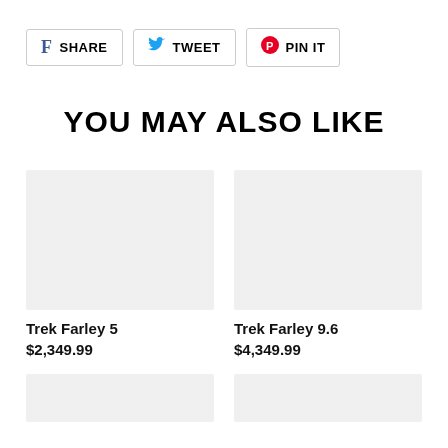f SHARE   🐦 TWEET   🅟 PIN IT
YOU MAY ALSO LIKE
[Figure (photo): Product image placeholder for Trek Farley 5]
Trek Farley 5
$2,349.99
[Figure (photo): Product image placeholder for Trek Farley 9.6]
Trek Farley 9.6
$4,349.99
[Figure (photo): Product image placeholder (bottom left)]
[Figure (photo): Product image placeholder (bottom right)]